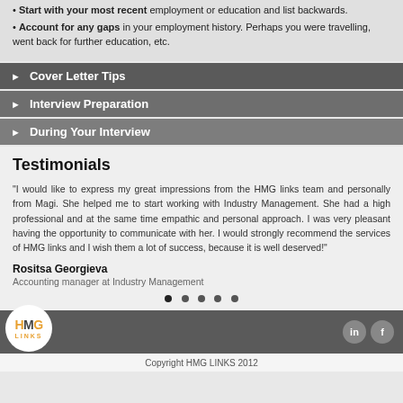Start with your most recent employment or education and list backwards.
Account for any gaps in your employment history. Perhaps you were travelling, went back for further education, etc.
Cover Letter Tips
Interview Preparation
During Your Interview
Testimonials
“I would like to express my great impressions from the HMG links team and personally from Magi. She helped me to start working with Industry Management. She had a high professional and at the same time empathic and personal approach. I was very pleasant having the opportunity to communicate with her. I would strongly recommend the services of HMG links and I wish them a lot of success, because it is well deserved!”
Rositsa Georgieva
Accounting manager at Industry Management
Copyright HMG LINKS 2012